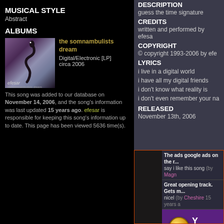MUSICAL STYLE
Abstract
ALBUMS
[Figure (illustration): Album cover for 'the somnambulists dream' by efesar, showing a dark purple/mauve background with a stylized snake or serpent figure in black, and text 'efesar' at the bottom left]
the somnambulists dream
Digital/Electronic [LP]
circa 2006
This song was added to our database on November 14, 2006, and the song's information was last updated 15 years ago. efesar is responsible for keeping this song's information up to date. This page has been viewed 5636 time(s).
DESCRIPTION
guess the time signature
CREDITS
written and performed by efesa
COPYRIGHT
© copyright 1993-2006 by efe
LYRICS
i live in a digital world
i have all my digital friends
i don't know what reality is
i don't even remember your na
RELEASED
November 13th, 2006
The ads google ads on the r... say i like this song (by Magn
Great opening track. Gets m... nicel (by Cheshire 15 years a